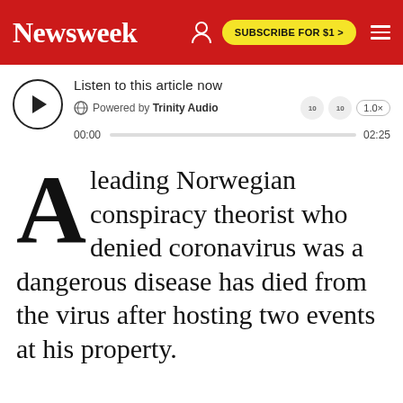Newsweek | SUBSCRIBE FOR $1 >
[Figure (screenshot): Audio player widget with play button, Trinity Audio branding, progress bar showing 00:00 to 02:25, and speed controls (1.0x)]
A leading Norwegian conspiracy theorist who denied coronavirus was a dangerous disease has died from the virus after hosting two events at his property.